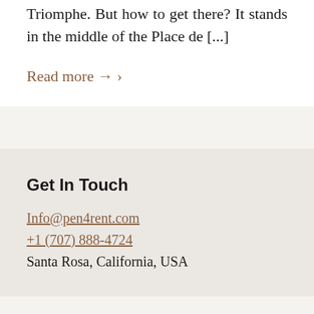Triomphe. But how to get there? It stands in the middle of the Place de [...]
Read more → ›
Get In Touch
Info@pen4rent.com
+1 (707) 888-4724
Santa Rosa, California, USA